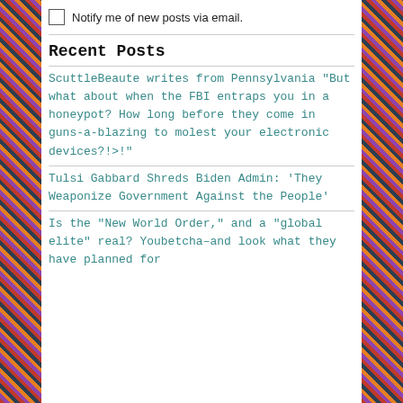Notify me of new posts via email.
Recent Posts
ScuttleBeaute writes from Pennsylvania "But what about when the FBI entraps you in a honeypot? How long before they come in guns-a-blazing to molest your electronic devices?!>!"
Tulsi Gabbard Shreds Biden Admin: 'They Weaponize Government Against the People'
Is the "New World Order," and a "global elite" real? Youbetcha–and look what they have planned for